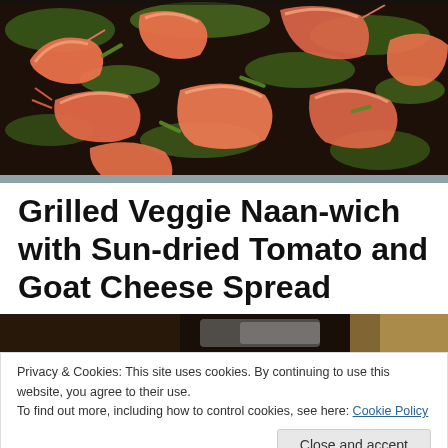[Figure (photo): Overhead shot of cooked shrimp with herbs and vegetables in a dark pan]
Grilled Veggie Naan-wich with Sun-dried Tomato and Goat Cheese Spread
[Figure (photo): Partial view of a second food photo, dark background with warm tones]
Privacy & Cookies: This site uses cookies. By continuing to use this website, you agree to their use.
To find out more, including how to control cookies, see here: Cookie Policy
[Figure (photo): Partial view of a third food photo at the bottom of the page]